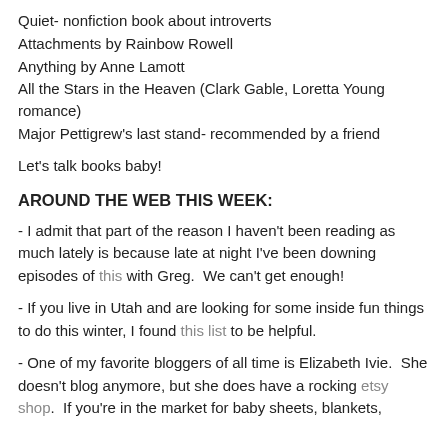Quiet- nonfiction book about introverts
Attachments by Rainbow Rowell
Anything by Anne Lamott
All the Stars in the Heaven (Clark Gable, Loretta Young romance)
Major Pettigrew's last stand- recommended by a friend
Let's talk books baby!
AROUND THE WEB THIS WEEK:
- I admit that part of the reason I haven't been reading as much lately is because late at night I've been downing episodes of this with Greg.  We can't get enough!
- If you live in Utah and are looking for some inside fun things to do this winter, I found this list to be helpful.
- One of my favorite bloggers of all time is Elizabeth Ivie.  She doesn't blog anymore, but she does have a rocking etsy shop.  If you're in the market for baby sheets, blankets,